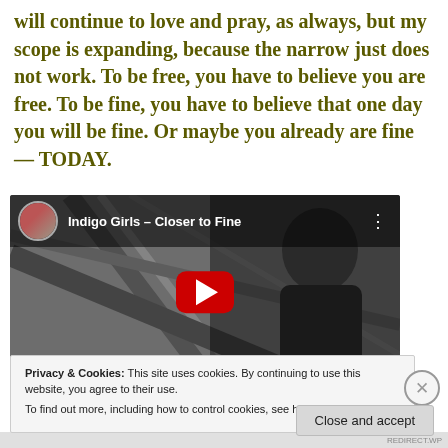will continue to love and pray, as always, but my scope is expanding, because the narrow just does not work. To be free, you have to believe you are free. To be fine, you have to believe that one day you will be fine. Or maybe you already are fine — TODAY.
[Figure (screenshot): YouTube video embed showing 'Indigo Girls - Closer to Fine' with a black and white thumbnail of a person, channel icon with two people, red play button, and three-dot menu icon.]
Privacy & Cookies: This site uses cookies. By continuing to use this website, you agree to their use.
To find out more, including how to control cookies, see here: Cookie Policy
Close and accept